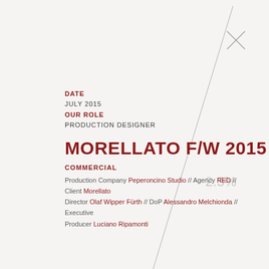DATE
JULY 2015
OUR ROLE
PRODUCTION DESIGNER
MORELLATO F/W 2015
COMMERCIAL
Production Company Peperoncino Studio // Agency RED // Client Morellato Director Olaf Wipper Fürth // DoP Alessandro Melchionda // Executive Producer Luciano Ripamonti